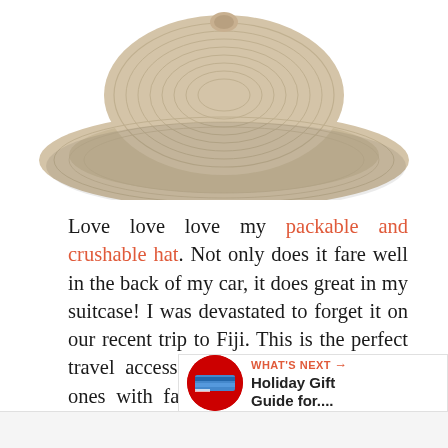[Figure (photo): A beige/tan wide-brim packable sun hat photographed from above against a white background.]
Love love love my packable and crushable hat. Not only does it fare well in the back of my car, it does great in my suitcase! I was devastated to forget it on our recent trip to Fiji. This is the perfect travel accessory for women, especially ones with fair skin who need to keep covered.
[Figure (screenshot): What's Next widget showing Holiday Gift Guide for... with a red circular thumbnail and share/like buttons.]